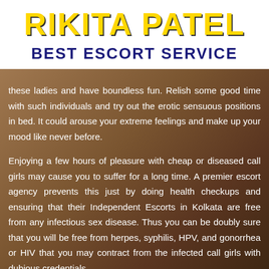RIKITA PATEL
BEST ESCORT SERVICE
these ladies and have boundless fun. Relish some good time with such individuals and try out the erotic sensuous positions in bed. It could arouse your extreme feelings and make up your mood like never before.

Enjoying a few hours of pleasure with cheap or diseased call girls may cause you to suffer for a long time. A premier escort agency prevents this just by doing health checkups and ensuring that their Independent Escorts in Kolkata are free from any infectious sex disease. Thus you can be doubly sure that you will be free from herpes, syphilis, HPV, and gonorrhea or HIV that you may contract from the infected call girls with dubious credentials.
Call Now   9173783467